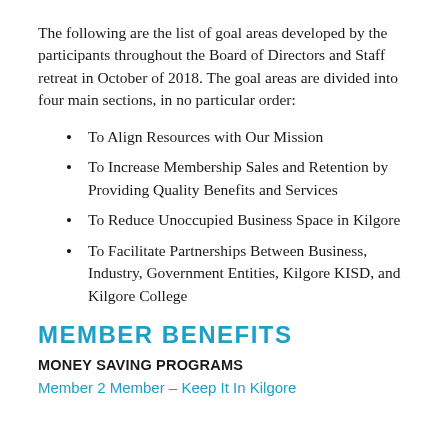The following are the list of goal areas developed by the participants throughout the Board of Directors and Staff retreat in October of 2018. The goal areas are divided into four main sections, in no particular order:
To Align Resources with Our Mission
To Increase Membership Sales and Retention by Providing Quality Benefits and Services
To Reduce Unoccupied Business Space in Kilgore
To Facilitate Partnerships Between Business, Industry, Government Entities, Kilgore KISD, and Kilgore College
MEMBER BENEFITS
MONEY SAVING PROGRAMS
Member 2 Member – Keep It In Kilgore